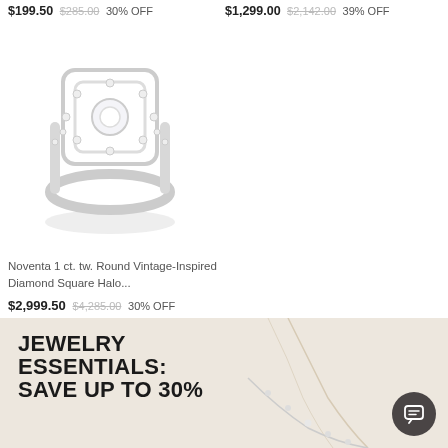$199.50 $285.00 30% OFF
$1,299.00 $2,142.00 39% OFF
[Figure (photo): Diamond square halo engagement ring set in white gold with vintage-inspired design, shown on white background]
Noventa 1 ct. tw. Round Vintage-Inspired Diamond Square Halo...
$2,999.50 $4,285.00 30% OFF
[Figure (photo): Banner with beige/cream background showing a model wearing diamond necklace, with text JEWELRY ESSENTIALS: SAVE UP TO 30%]